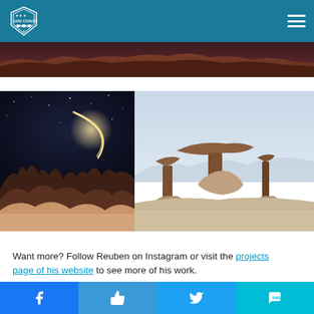UAV Coach
[Figure (photo): Top partial image strip showing red desert rock formations from an aerial/drone perspective]
[Figure (photo): Left photo: dark night sky with crescent moon arc of light over illuminated sandstone hoodoo rock formations in a desert landscape]
[Figure (photo): Right photo: pale blue-grey sky over dramatic flat-topped mushroom-shaped sandstone rock formations (hoodoos) in a desert landscape]
Want more? Follow Reuben on Instagram or visit the projects page of his website to see more of his work.